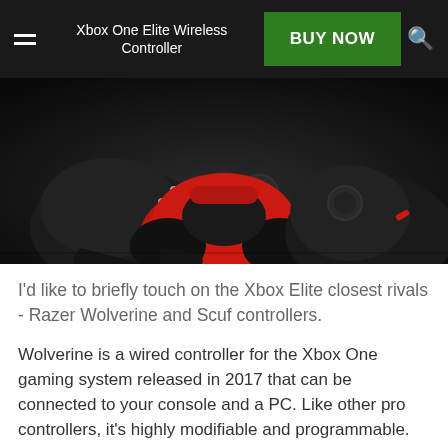Xbox One Elite Wireless Controller | BUY NOW
[Figure (photo): Dark background photo showing gaming controllers including a black Xbox One Elite controller with silver d-pad on the left and a red/black Razer Wolverine controller in the center, and another controller on the right.]
I'd like to briefly touch on the Xbox Elite closest rivals - Razer Wolverine and Scuf controllers.
Wolverine is a wired controller for the Xbox One gaming system released in 2017 that can be connected to your console and a PC. Like other pro controllers, it's highly modifiable and programmable. The gadget features 6 extra button paddles - 2 on the shoulders and 4 underneath, that can be programmed to any pre-set functions via the controller itself with no software being required for remapping.